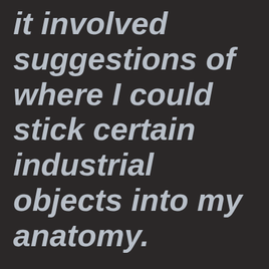it involved suggestions of where I could stick certain industrial objects into my anatomy.
They even offered to help.